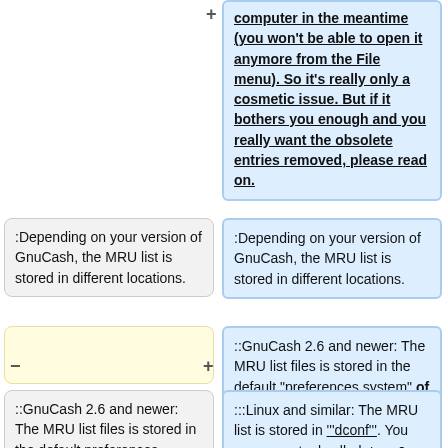computer in the meantime (you won't be able to open it anymore from the File menu). So it's really only a cosmetic issue. But if it bothers you enough and you really want the obsolete entries removed, please read on.
:Depending on your version of GnuCash, the MRU list is stored in different locations.
:Depending on your version of GnuCash, the MRU list is stored in different locations.
::GnuCash 2.6 and newer: The MRU list files is stored in the default "preferences system" of your operating system:
::GnuCash 2.6 and newer: The MRU list files is stored in the default preferences system
:::Linux and similar: The MRU list is stored in '''dconf'''. You can use a tool called <tt>dconf-